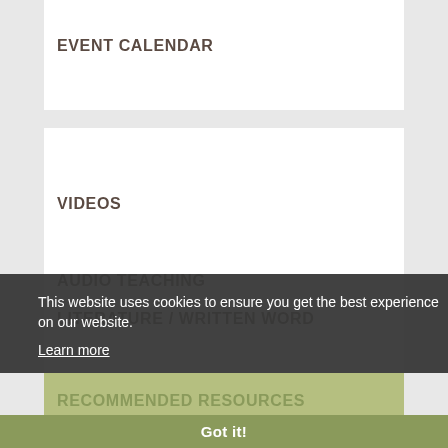EVENT CALENDAR
VIDEOS
AUDIO TEACHING
LITERATURE / WRITTEN WORD
RECOMMENDED RESOURCES
This website uses cookies to ensure you get the best experience on our website.
Learn more
Got it!